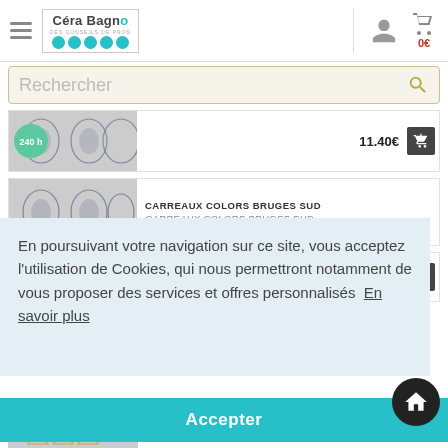[Figure (screenshot): Céra Bagno website header with hamburger menu, logo, user icon, and cart showing 0€]
Rechercher
[Figure (photo): Decorative tile pattern - blue ornamental motifs on grey background with badge showing 240 h]
11.40€
[Figure (photo): Decorative tile pattern - blue ornamental motifs on grey background (second product)]
CARREAUX COLORS BRUGES SUD
CARREAUX COLORS BRUGES SUD ...
En poursuivant votre navigation sur ce site, vous acceptez l'utilisation de Cookies, qui nous permettront notamment de vous proposer des services et offres personnalisés  En savoir plus
Accepter